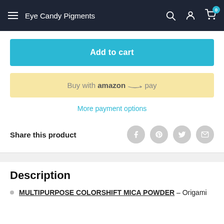Eye Candy Pigments
Add to cart
Buy with amazon pay
More payment options
Share this product
Description
MULTIPURPOSE COLORSHIFT MICA POWDER – Origami